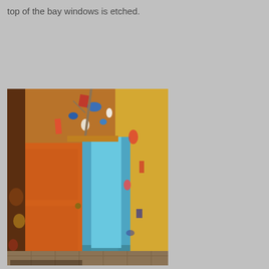top of the bay windows is etched.
[Figure (photo): An open orange door revealing a light blue interior, set against colorful painted walls with abstract murals in orange, yellow, blue, and red. The room has a patterned tile floor visible at the bottom.]